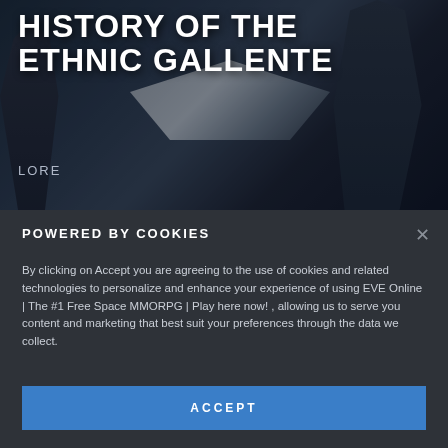[Figure (illustration): Dark sci-fi hero image with armored characters and a sleek spaceship against a dark blue-gray background]
HISTORY OF THE ETHNIC GALLENTE
LORE
POWERED BY COOKIES
By clicking on Accept you are agreeing to the use of cookies and related technologies to personalize and enhance your experience of using EVE Online | The #1 Free Space MMORPG | Play here now! , allowing us to serve you content and marketing that best suit your preferences through the data we collect.
he history of the Ethnic Gallente is, all...(partially hidden)
Ancients is characterized by having poor historical records.